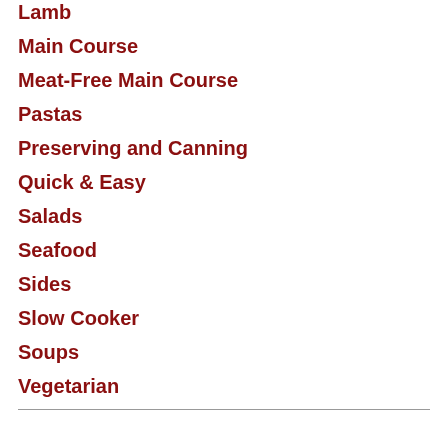Lamb
Main Course
Meat-Free Main Course
Pastas
Preserving and Canning
Quick & Easy
Salads
Seafood
Sides
Slow Cooker
Soups
Vegetarian